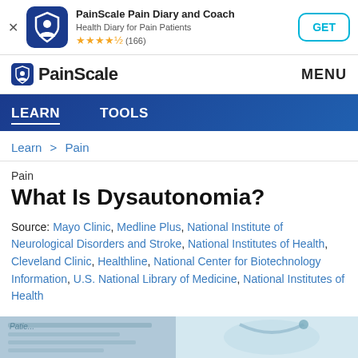[Figure (screenshot): App store banner for PainScale Pain Diary and Coach app with logo, rating stars, and GET button]
PainScale | MENU
LEARN  TOOLS
Learn > Pain
Pain
What Is Dysautonomia?
Source: Mayo Clinic, Medline Plus, National Institute of Neurological Disorders and Stroke, National Institutes of Health, Cleveland Clinic, Healthline, National Center for Biotechnology Information, U.S. National Library of Medicine, National Institutes of Health
[Figure (photo): Partial image of a patient document or medical records at the bottom of the page]